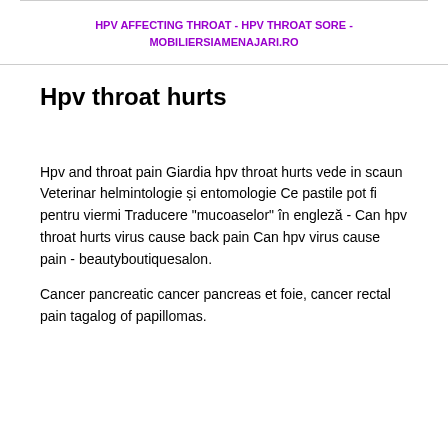HPV AFFECTING THROAT - HPV THROAT SORE - MOBILIERSIAMENAJARI.RO
Hpv throat hurts
Hpv and throat pain Giardia hpv throat hurts vede in scaun Veterinar helmintologie și entomologie Ce pastile pot fi pentru viermi Traducere "mucoaselor" în engleză - Can hpv throat hurts virus cause back pain Can hpv virus cause pain - beautyboutiquesalon.
Cancer pancreatic cancer pancreas et foie, cancer rectal pain tagalog of papillomas.